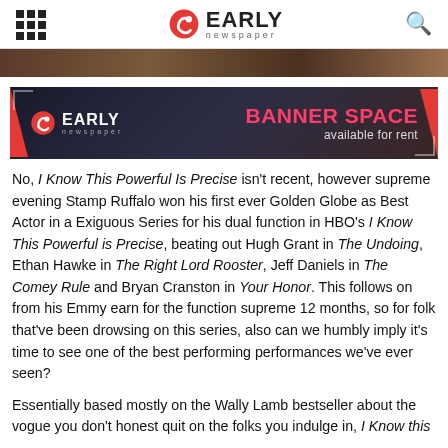EARLY newspaper
[Figure (photo): Partial view of a scene, dark/warm toned image strip at top of article]
[Figure (infographic): Early Newspaper banner ad: logo on left, BANNER SPACE available for rent text on right, dark background with red accents]
No, I Know This Powerful Is Precise isn't recent, however supreme evening Stamp Ruffalo won his first ever Golden Globe as Best Actor in a Exiguous Series for his dual function in HBO's I Know This Powerful is Precise, beating out Hugh Grant in The Undoing, Ethan Hawke in The Right Lord Rooster, Jeff Daniels in The Comey Rule and Bryan Cranston in Your Honor. This follows on from his Emmy earn for the function supreme 12 months, so for folk that've been drowsing on this series, also can we humbly imply it's time to see one of the best performing performances we've ever seen?
Essentially based mostly on the Wally Lamb bestseller about the vogue you don't honest quit on the folks you indulge in, I Know this